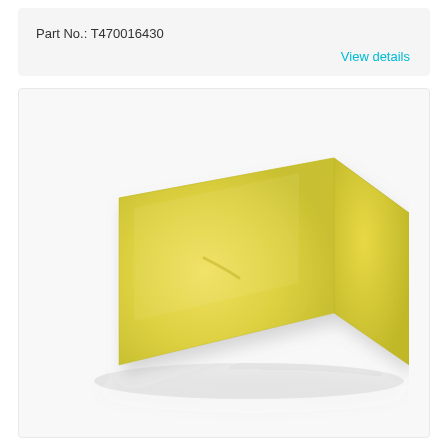Part No.: T470016430
View details
[Figure (photo): A yellow rectangular block of wax or soap, photographed on a white background. The block has a slightly beveled top-left corner and a smooth, slightly glossy surface with a pale yellow color.]